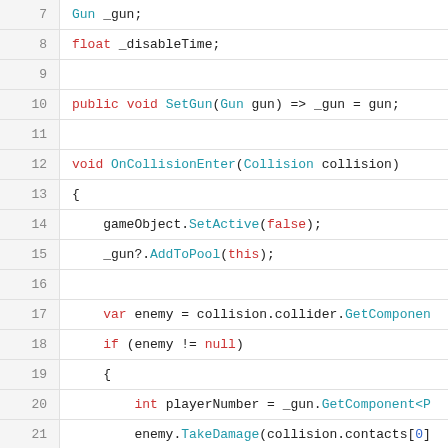[Figure (screenshot): Code editor screenshot showing C# code lines 7-25 with syntax highlighting. Line numbers in left gutter, code with red/blue/teal colored keywords on white background.]